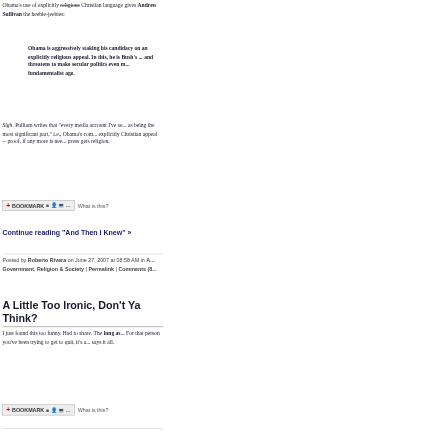Obama's use of explicitly religious Christian language gives Andrew Sullivan the heebie-jeebies:
Obama is aggressively staking his candidacy on an explicitly religious appeal. In this, he is Bush's ... and threatens to make secular politics even more ... fundamentalist age.
Sigh. Pulliam writes that "every media account I've seen ... as being the most significant part," i.e., Obama's com... explicitly Christian appeal -- proof, if any more is nee... press gets religion.
BOOKMARK  What is this?
Continue reading "And Then I Knew" »
Posted by Roberto Rivera on June 27, 2007 at 08:58 AM in A... Government, Religion & Society | Permalink | Comments (8...
A Little Too Ironic, Don't Ya Think?
I just found this too funny. Had to share. The lung as... For that person you've been trying to get to quit, it's a... says it all.
BOOKMARK  What is this?